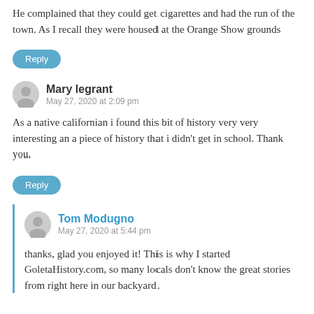He complained that they could get cigarettes and had the run of the town. As I recall they were housed at the Orange Show grounds
Reply
Mary legrant
May 27, 2020 at 2:09 pm
As a native californian i found this bit of history very very interesting an a piece of history that i didn't get in school. Thank you.
Reply
Tom Modugno
May 27, 2020 at 5:44 pm
thanks, glad you enjoyed it! This is why I started GoletaHistory.com, so many locals don't know the great stories from right here in our backyard.